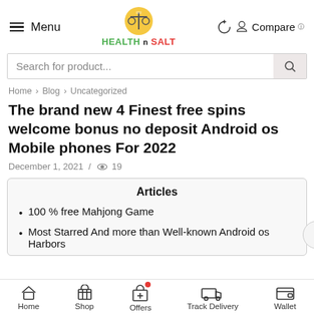Menu | HEALTH n SALT | Compare
Search for product...
Home > Blog > Uncategorized
The brand new 4 Finest free spins welcome bonus no deposit Android os Mobile phones For 2022
December 1, 2021 / 19
Articles
100 % free Mahjong Game
Most Starred And more than Well-known Android os Harbors
Home | Shop | Offers | Track Delivery | Wallet